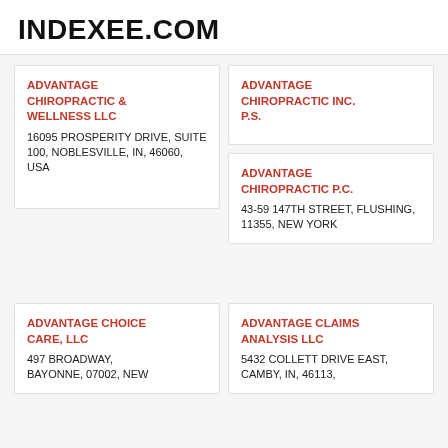INDEXEE.COM
ADVANTAGE CHIROPRACTIC & WELLNESS LLC
16095 PROSPERITY DRIVE, SUITE 100, NOBLESVILLE, IN, 46060, USA
ADVANTAGE CHIROPRACTIC INC. P.S.
ADVANTAGE CHIROPRACTIC P.C.
43-59 147TH STREET, FLUSHING, 11355, NEW YORK
ADVANTAGE CHOICE CARE, LLC
497 BROADWAY, BAYONNE, 07002, NEW
ADVANTAGE CLAIMS ANALYSIS LLC
5432 COLLETT DRIVE EAST, CAMBY, IN, 46113,